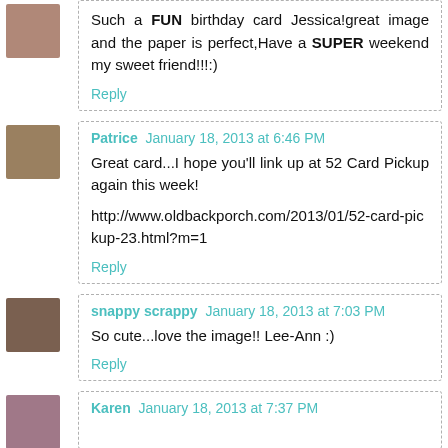Such a FUN birthday card Jessica!great image and the paper is perfect,Have a SUPER weekend my sweet friend!!!:)
Reply
Patrice  January 18, 2013 at 6:46 PM
Great card...I hope you'll link up at 52 Card Pickup again this week!
http://www.oldbackporch.com/2013/01/52-card-pickup-23.html?m=1
Reply
snappy scrappy  January 18, 2013 at 7:03 PM
So cute...love the image!! Lee-Ann :)
Reply
Karen  January 18, 2013 at 7:37 PM